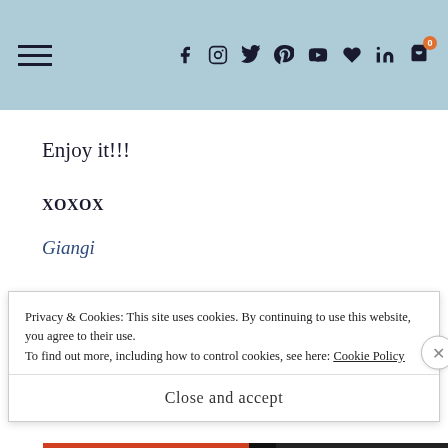Navigation bar with hamburger menu and social icons (Facebook, Instagram, Twitter, Pinterest, YouTube, heart, LinkedIn, cart with 0 badge)
Enjoy it!!!
XOXOX
Giangi
[Figure (photo): Food photo showing yellow/orange fruits or eggs on a white plate against a soft purple/lavender background]
Privacy & Cookies: This site uses cookies. By continuing to use this website, you agree to their use.
To find out more, including how to control cookies, see here: Cookie Policy
Close and accept